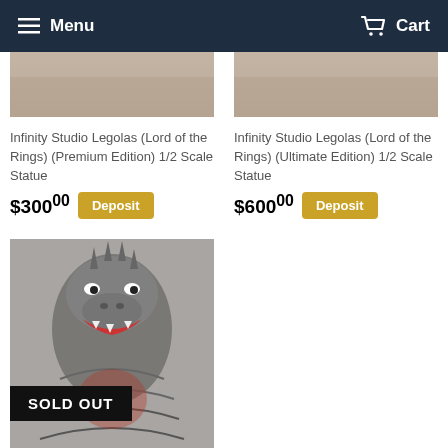Menu  Cart
[Figure (photo): Cropped top portion of a Legolas statue (Premium Edition) product image]
[Figure (photo): Cropped top portion of a Legolas statue (Ultimate Edition) product image]
Infinity Studio Legolas (Lord of the Rings) (Premium Edition) 1/2 Scale Statue
$300.00  Deposit
Infinity Studio Legolas (Lord of the Rings) (Ultimate Edition) 1/2 Scale Statue
$600.00  Deposit
[Figure (photo): Godzilla bust/statue product image with SOLD OUT overlay banner]